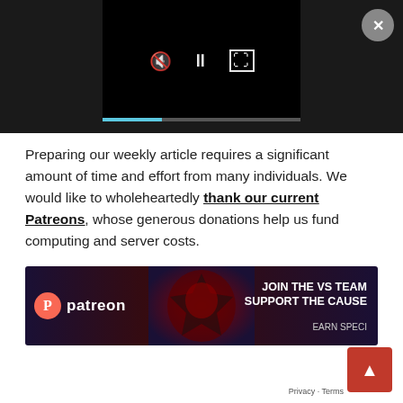[Figure (screenshot): Video player with dark background, playback controls (mute, pause, fullscreen), a light blue progress bar, and a close (X) button in the top right corner.]
Preparing our weekly article requires a significant amount of time and effort from many individuals. We would like to wholeheartedly thank our current Patreons, whose generous donations help us fund computing and server costs.
[Figure (illustration): Patreon banner ad with dark fantasy artwork, Patreon logo on the left, and text 'JOIN THE VS TEAM SUPPORT THE CAUSE' and 'EARN SPECI...' on the right.]
Tier 3+ Patrons